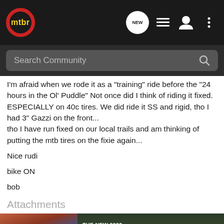mtbr navigation bar with logo and icons
I'm afraid when we rode it as a "training" ride before the "24 hours in the Ol' Puddle" Not once did I think of riding it fixed. ESPECIALLY on 40c tires. We did ride it SS and rigid, tho I had 3" Gazzi on the front...
tho I have run fixed on our local trails and am thinking of putting the mtb tires on the fixie again...
Nice rudi
bike ON
bob
Attachments
[Figure (photo): Advertisement for The New 2022 Silverado by Chevrolet with an Explore button, shown over a dark green outdoor background with the truck]